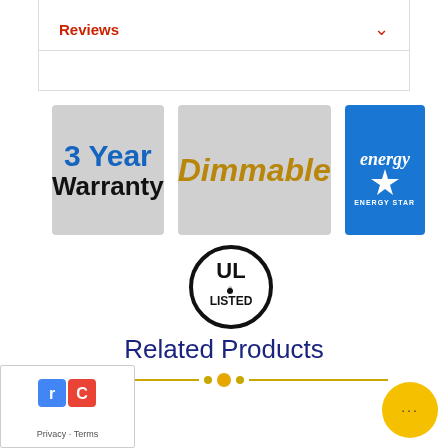Reviews
[Figure (logo): 3 Year Warranty badge - gray background with blue '3 Year' and black 'Warranty' text]
[Figure (logo): Dimmable badge - gray background with gold italic 'Dimmable' text]
[Figure (logo): Energy Star badge - blue background with white Energy Star logo and 'ENERGY STAR' text]
[Figure (logo): UL Listed certification badge - circular black and white logo with 'LISTED' text below]
Related Products
[Figure (logo): reCAPTCHA privacy widget with Privacy - Terms text]
[Figure (other): Chat button - circular yellow button with ellipsis]